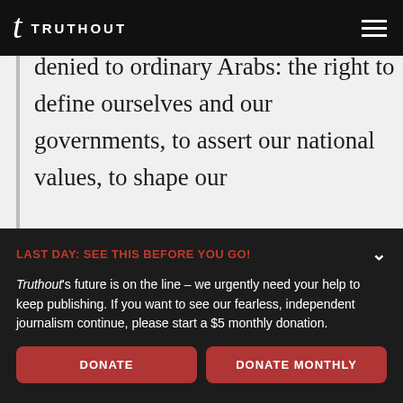TRUTHOUT
denied to ordinary Arabs: the right to define ourselves and our governments, to assert our national values, to shape our
LAST DAY: SEE THIS BEFORE YOU GO!
Truthout's future is on the line – we urgently need your help to keep publishing. If you want to see our fearless, independent journalism continue, please start a $5 monthly donation.
DONATE
DONATE MONTHLY